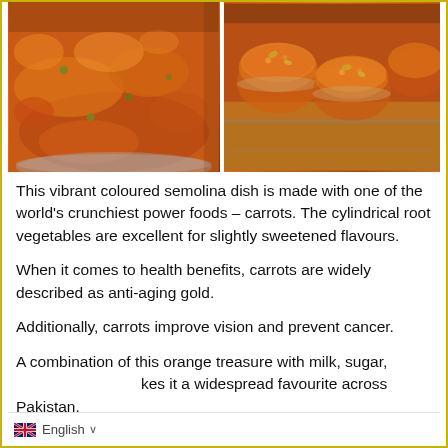[Figure (photo): Two food photos side by side: left shows an orange-coloured carrot semolina dish (gajar halwa) in a bowl, right shows similar dish served in glass bowls on a decorative tray]
This vibrant coloured semolina dish is made with one of the world's crunchiest power foods – carrots. The cylindrical root vegetables are excellent for slightly sweetened flavours.
When it comes to health benefits, carrots are widely described as anti-aging gold.
Additionally, carrots improve vision and prevent cancer.
A combination of this orange treasure with milk, sugar, kes it a widespread favourite across Pakistan.
🇬🇧 English ∨ kes it a widespread favourite across Pakistan.